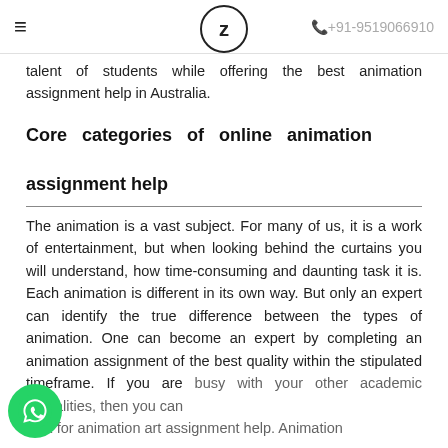≡  Z  +91-9519066910
talent of students while offering the best animation assignment help in Australia.
Core categories of online animation assignment help
The animation is a vast subject. For many of us, it is a work of entertainment, but when looking behind the curtains you will understand, how time-consuming and daunting task it is. Each animation is different in its own way. But only an expert can identify the true difference between the types of animation. One can become an expert by completing an animation assignment of the best quality within the stipulated timeframe. If you are busy with your other academic formalities, then you can look for animation art assignment help. Animation